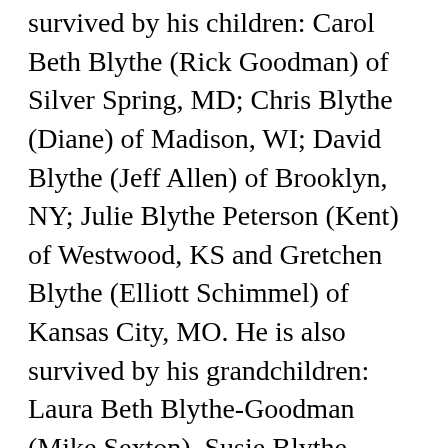survived by his children: Carol Beth Blythe (Rick Goodman) of Silver Spring, MD; Chris Blythe (Diane) of Madison, WI; David Blythe (Jeff Allen) of Brooklyn, NY; Julie Blythe Peterson (Kent) of Westwood, KS and Gretchen Blythe (Elliott Schimmel) of Kansas City, MO. He is also survived by his grandchildren: Laura Beth Blythe-Goodman (Mike Sexton), Susie Blythe-Goodman (David Delgado), Sean Blythe (Jami Riley), Ryan Blythe, Jack Peterson (Heather Nyheim), Kathryn Peterson, and Jessica Peterson. Klaus Fischer of Bonn, Germany was an AFS exchange student with the Blythe family, 1974-75. John is also survived by his brothers.